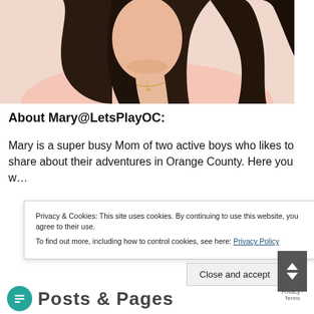[Figure (photo): Cropped photo of a woman with dark wavy hair wearing a light pink top, visible from shoulders up, with a necklace.]
About Mary@LetsPlayOC:
Mary is a super busy Mom of two active boys who likes to share about their adventures in Orange County. Here you will find family-friendly ideas for families living in and visiting the area. Whether it's parks, restaurants, entertainment, things to do, or events, you'll find it all here!
Privacy & Cookies: This site uses cookies. By continuing to use this website, you agree to their use.
To find out more, including how to control cookies, see here: Privacy Policy
Close and accept
Privacy · Terms
Posts & Pages